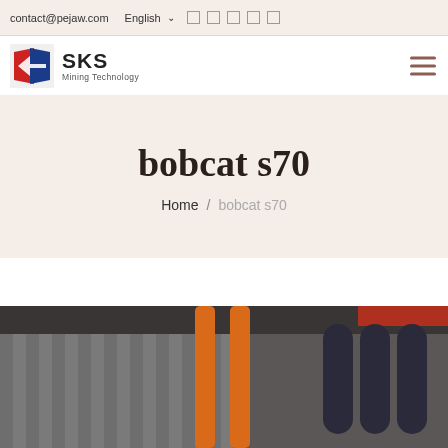contact@pejaw.com  English
[Figure (logo): SKS Mining Technology logo with red and blue angular shield icon]
bobcat s70
Home / bobcat s70
[Figure (photo): Industrial building interior showing orange vertical bars/rails and dark cylindrical pipes with corrugated metal walls]